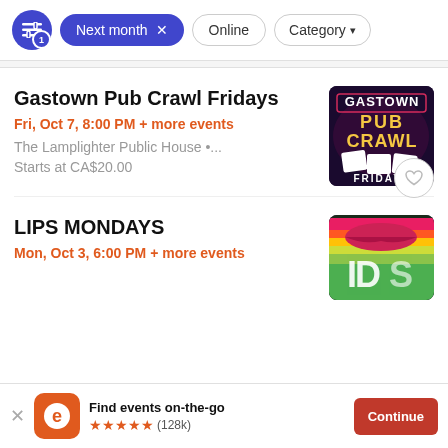Next month × | Online | Category
Gastown Pub Crawl Fridays
Fri, Oct 7, 8:00 PM + more events
The Lamplighter Public House •...
Starts at CA$20.00
[Figure (photo): Gastown Pub Crawl Fridays event thumbnail with neon text]
LIPS MONDAYS
Mon, Oct 3, 6:00 PM + more events
[Figure (photo): LIPS MONDAYS event thumbnail with colorful lips and rainbow colors]
Find events on-the-go ★★★★★ (128k) Continue